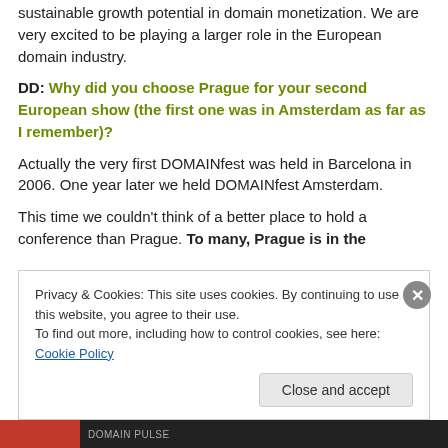sustainable growth potential in domain monetization. We are very excited to be playing a larger role in the European domain industry.
DD: Why did you choose Prague for your second European show (the first one was in Amsterdam as far as I remember)?
Actually the very first DOMAINfest was held in Barcelona in 2006. One year later we held DOMAINfest Amsterdam.
This time we couldn't think of a better place to hold a conference than Prague. To many, Prague is in the
Privacy & Cookies: This site uses cookies. By continuing to use this website, you agree to their use.
To find out more, including how to control cookies, see here: Cookie Policy